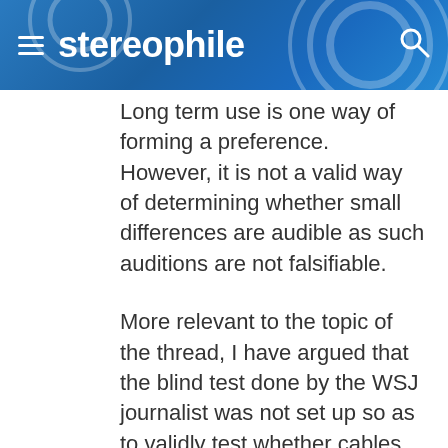stereophile
Long term use is one way of forming a preference. However, it is not a valid way of determining whether small differences are audible as such auditions are not falsifiable.
More relevant to the topic of the thread, I have argued that the blind test done by the WSJ journalist was not set up so as to validly test whether cables sound different. All that could be concluded was that the